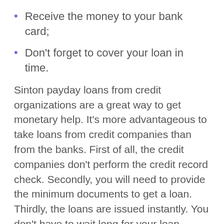Receive the money to your bank card;
Don't forget to cover your loan in time.
Sinton payday loans from credit organizations are a great way to get monetary help. It's more advantageous to take loans from credit companies than from the banks. First of all, the credit companies don't perform the credit record check. Secondly, you will need to provide the minimum documents to get a loan. Thirdly, the loans are issued instantly. You don't have to wait long for your loan request approval. Moreover, you can apply for a loan online. Your physical presence is not required.
[Figure (other): Scroll-to-top button with upward arrow icon]
Apply Now
Applying does NOT affect your credit score!
No credit check to apply.